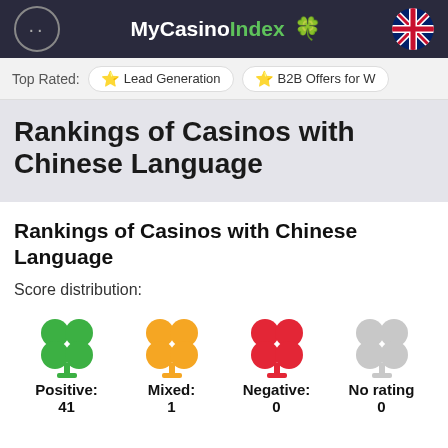MyCasinoIndex
Top Rated: Lead Generation  B2B Offers for W...
Rankings of Casinos with Chinese Language
Rankings of Casinos with Chinese Language
Score distribution:
Positive:  Mixed:  Negative:  No rating
41  1  0  0